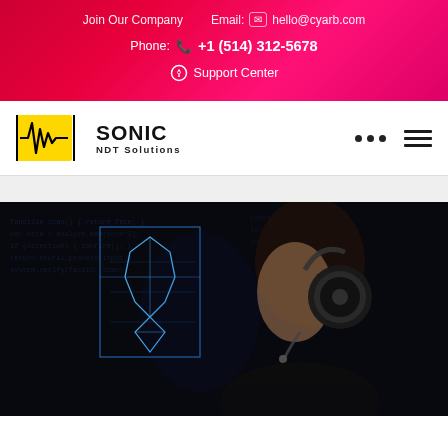Join Our Company   Email: hello@cyarb.com
Phone: +1 (514) 312-5678
Support Center
[Figure (logo): Sonic NDT Solutions logo with yellow box containing waveform and company name]
[Figure (photo): Person wearing headphones in profile view with blue glowing geometric face scan overlay on dark background with code text]